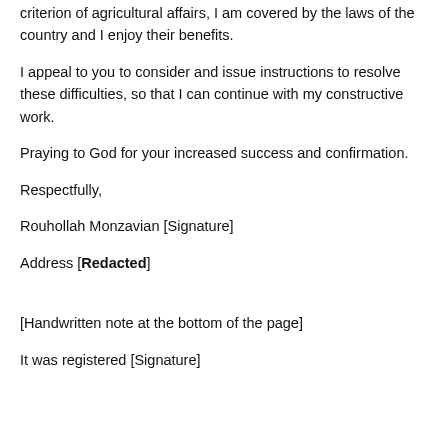criterion of agricultural affairs, I am covered by the laws of the country and I enjoy their benefits.
I appeal to you to consider and issue instructions to resolve these difficulties, so that I can continue with my constructive work.
Praying to God for your increased success and confirmation.
Respectfully,
Rouhollah Monzavian [Signature]
Address [Redacted]
[Handwritten note at the bottom of the page]
It was registered [Signature]